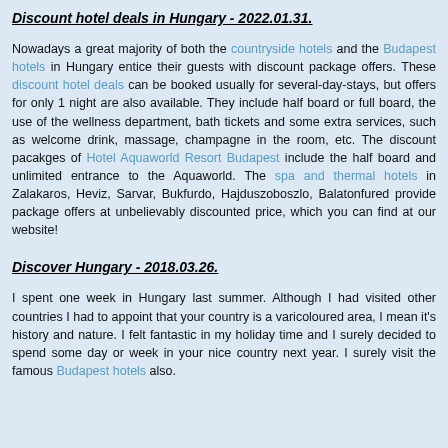Discount hotel deals in Hungary - 2022.01.31.
Nowadays a great majority of both the countryside hotels and the Budapest hotels in Hungary entice their guests with discount package offers. These discount hotel deals can be booked usually for several-day-stays, but offers for only 1 night are also available. They include half board or full board, the use of the wellness department, bath tickets and some extra services, such as welcome drink, massage, champagne in the room, etc. The discount pacakges of Hotel Aquaworld Resort Budapest include the half board and unlimited entrance to the Aquaworld. The spa and thermal hotels in Zalakaros, Heviz, Sarvar, Bukfurdo, Hajduszoboszlo, Balatonfured provide package offers at unbelievably discounted price, which you can find at our website!
Discover Hungary - 2018.03.26.
I spent one week in Hungary last summer. Although I had visited other countries I had to appoint that your country is a varicoloured area, I mean it's history and nature. I felt fantastic in my holiday time and I surely decided to spend some day or week in your nice country next year. I surely visit the famous Budapest hotels also.